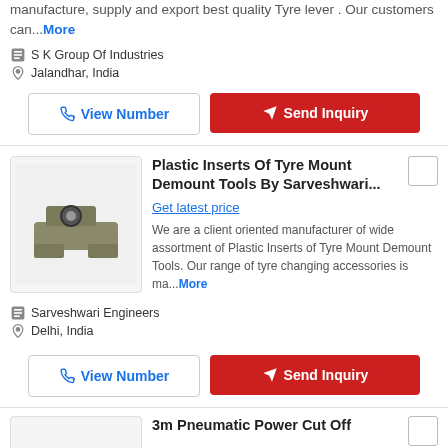manufacture, supply and export best quality Tyre lever . Our customers can... More
S K Group Of Industries
Jalandhar, India
View Number
Send Inquiry
Plastic Inserts Of Tyre Mount Demount Tools By Sarveshwari...
Get latest price
We are a client oriented manufacturer of wide assortment of Plastic Inserts of Tyre Mount Demount Tools. Our range of tyre changing accessories is ma... More
[Figure (photo): Plastic insert for tyre mount demount tool, metal component with circular hole]
Sarveshwari Engineers
Delhi, India
View Number
Send Inquiry
3m Pneumatic Power Cut Off